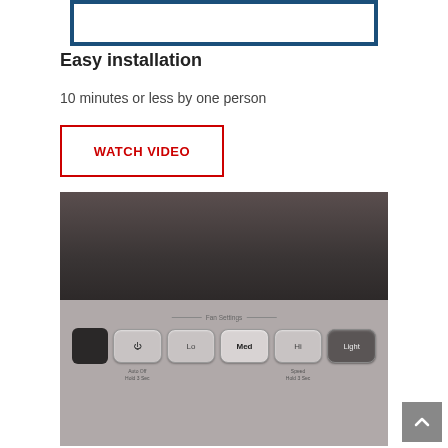[Figure (photo): Partial view of a product with blue border, cropped at top of page]
Easy installation
10 minutes or less by one person
WATCH VIDEO
[Figure (photo): Close-up photo of a device control panel showing buttons: power button, Lo, Med, Hi, Light. Fan Settings label visible. Sub-labels: Auto Off Hold 3 Sec and Speed Hold 3 Sec.]